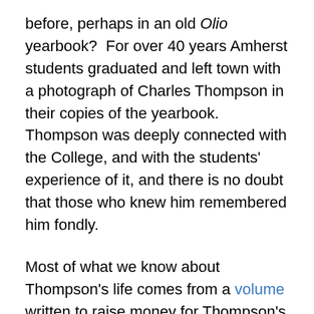before, perhaps in an old Olio yearbook?  For over 40 years Amherst students graduated and left town with a photograph of Charles Thompson in their copies of the yearbook.  Thompson was deeply connected with the College, and with the students' experience of it, and there is no doubt that those who knew him remembered him fondly.
Most of what we know about Thompson's life comes from a volume written to raise money for Thompson's old age by President William Augustus Stearns' daughter Abigail Eloise Lee.  I've looked at the book many times over the years, both for the purpose of learning about Thompson's life and to find details about the College and town during those days.  Recently I looked at it again and this time I happened to focus on a passage in which Lee mentions Thompson...